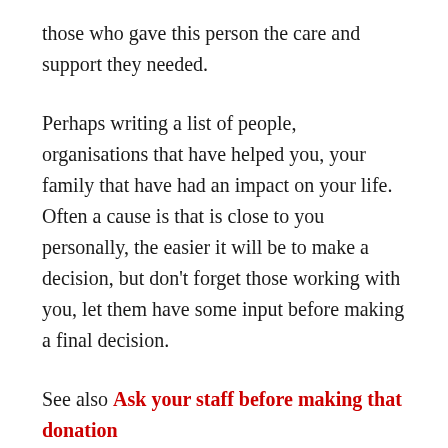those who gave this person the care and support they needed.
Perhaps writing a list of people, organisations that have helped you, your family that have had an impact on your life. Often a cause is that is close to you personally, the easier it will be to make a decision, but don't forget those working with you, let them have some input before making a final decision.
See also Ask your staff before making that donation